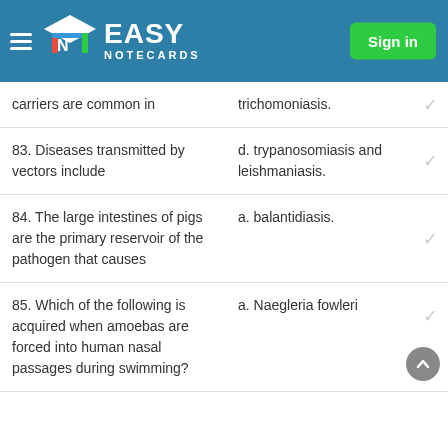Easy Notecards — Sign in
carriers are common in
trichomoniasis.
83. Diseases transmitted by vectors include
d. trypanosomiasis and leishmaniasis.
84. The large intestines of pigs are the primary reservoir of the pathogen that causes
a. balantidiasis.
85. Which of the following is acquired when amoebas are forced into human nasal passages during swimming?
a. Naegleria fowleri